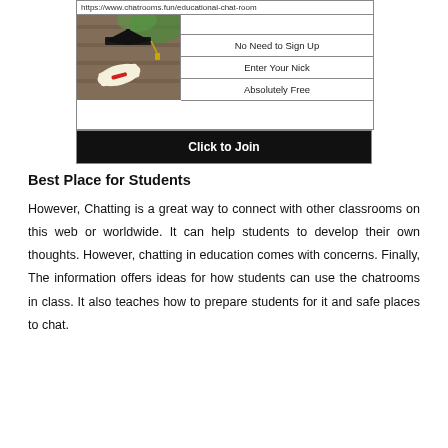[Figure (other): An advertisement banner for an educational chat room website. Shows a photo of a graduation cap and diploma, with text fields listing 'No Need to Sign Up', 'Enter Your Nick', 'Absolutely Free', and a 'Click to Join' black button at the bottom. URL shown: https://www.chatrooms.fun/educational-chat-room]
Best Place for Students
However, Chatting is a great way to connect with other classrooms on this web or worldwide. It can help students to develop their own thoughts. However, chatting in education comes with concerns. Finally, The information offers ideas for how students can use the chatrooms in class. It also teaches how to prepare students for it and safe places to chat.